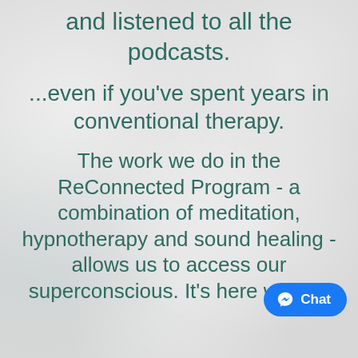and listened to all the podcasts.
...even if you've spent years in conventional therapy.
The work we do in the ReConnected Program - a combination of meditation, hypnotherapy and sound healing - allows us to access our superconscious. It's here we can